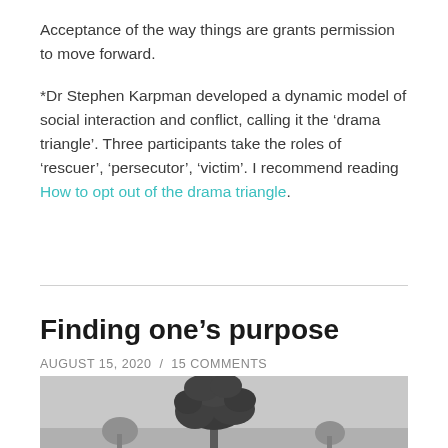Acceptance of the way things are grants permission to move forward.
*Dr Stephen Karpman developed a dynamic model of social interaction and conflict, calling it the ‘drama triangle’. Three participants take the roles of ‘rescuer’, ‘persecutor’, ‘victim’. I recommend reading How to opt out of the drama triangle.
Finding one’s purpose
AUGUST 15, 2020 / 15 COMMENTS
[Figure (photo): Black and white photograph showing a tree silhouette against a grey sky, partially visible at the bottom of the page.]